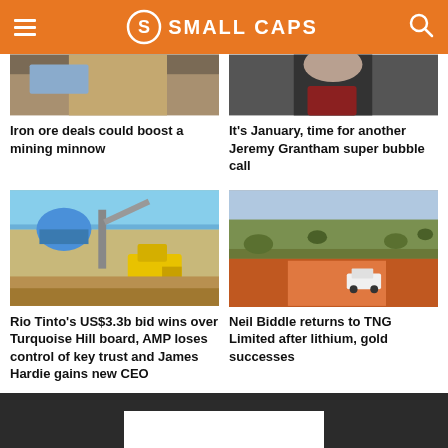SMALL CAPS
[Figure (photo): Partial view of a mining/industrial site - top of image cut off]
[Figure (photo): Partial view of a man in a suit - top of image cut off]
Iron ore deals could boost a mining minnow
It's January, time for another Jeremy Grantham super bubble call
[Figure (photo): Mining site with yellow heavy machinery, blue dome structure in background, arid landscape]
[Figure (photo): Aerial view of red Australian outback dirt road with white utility vehicle, scrubland]
Rio Tinto's US$3.3b bid wins over Turquoise Hill board, AMP loses control of key trust and James Hardie gains new CEO
Neil Biddle returns to TNG Limited after lithium, gold successes